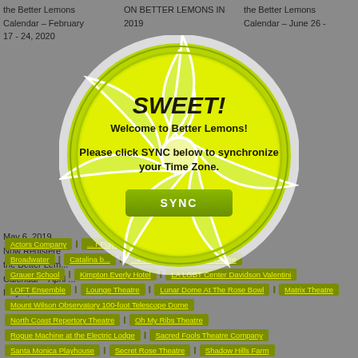the Better Lemons Calendar – February 17 - 24, 2020
ON BETTER LEMONS IN 2019
the Better Lemons Calendar – June 26 -
May 6, 2019
Now Registered the Better Lemons Calendar – April ... May 5, 2019
[Figure (illustration): A lemon slice graphic used as a modal dialog background, showing a yellow-green lemon cross-section with segments and white pith lines, glowing white border effect.]
SWEET!
Welcome to Better Lemons!
Please click SYNC below to synchronize your Time Zone.
Actors Company | ... r Playhouse | boston court
Broadwater | Catalina b... k theatres | GEM Theatre
Grauer School | Kimpton Everly Hotel | LA LGBT Center Davidson Valentini
LOFT Ensemble | Lounge Theatre | Lunar Dome At The Rose Bowl | Matrix Theatre
Mount Wilson Observatory 100-foot Telescope Dome
North Coast Repertory Theatre | Oh My Ribs Theatre
Rogue Machine at the Electric Lodge | Sacred Fools Theatre Company
Santa Monica Playhouse | Secret Rose Theatre | Shadow Hills Farm